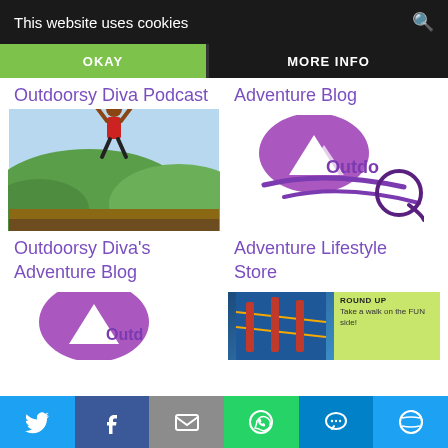This website uses cookies
OKAY
MORE INFO
Outdoorsy Diva Podcast
Adventure Blog
[Figure (photo): Person jumping with arms raised on outdoor viewpoint with green hills and sky background]
[Figure (logo): Outdoorsy Diva logo in purple with mountain and swoosh design]
Outdoorsy Diva's Adventure Blog
Adventure Lifestyle Store
[Figure (logo): Partial purple Outdoorsy Diva logo at bottom left]
[Figure (photo): Round Up article thumbnail showing adventure activity with green text overlay reading Take a walk on the FUN side!]